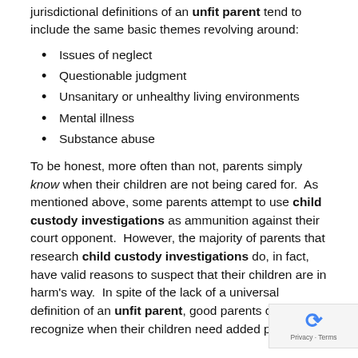jurisdictional definitions of an unfit parent tend to include the same basic themes revolving around:
Issues of neglect
Questionable judgment
Unsanitary or unhealthy living environments
Mental illness
Substance abuse
To be honest, more often than not, parents simply know when their children are not being cared for.  As mentioned above, some parents attempt to use child custody investigations as ammunition against their court opponent.  However, the majority of parents that research child custody investigations do, in fact, have valid reasons to suspect that their children are in harm’s way.  In spite of the lack of a universal definition of an unfit parent, good parents can easily recognize when their children need added protection.